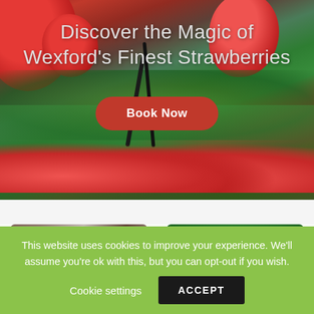[Figure (photo): Hero banner photograph of strawberries hanging on vines in a greenhouse, with red ripe and green unripe strawberries visible, dark stems, and a blurred bokeh background.]
Discover the Magic of Wexford's Finest Strawberries
Book Now
[Figure (photo): Thumbnail photo of a farm shop or market stall interior with wooden beams and produce displayed.]
[Figure (photo): Thumbnail photo of red strawberries hanging on vines, close-up view.]
This website uses cookies to improve your experience. We'll assume you're ok with this, but you can opt-out if you wish.  Cookie settings  ACCEPT